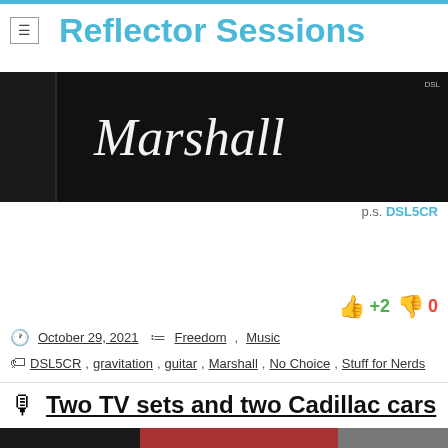Reflector Sessions
[Figure (photo): Marshall amplifier cabinet close-up photo, dark background with Marshall logo in white italic script, small DSL label in top right corner]
p.s. DSL5CR
+2  0
October 29, 2021   Freedom, Music
DSL5CR, gravitation, guitar, Marshall, No Choice, Stuff for Nerds
Two TV sets and two Cadillac cars
[Figure (photo): Partial thumbnail image for the post Two TV sets and two Cadillac cars, showing partial faces/imagery in dark tones]